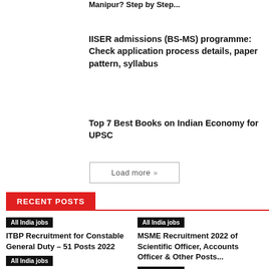Manipur? Step by Step...
IISER admissions (BS-MS) programme: Check application process details, paper pattern, syllabus
Top 7 Best Books on Indian Economy for UPSC
Load more »
RECENT POSTS
All India jobs
ITBP Recruitment for Constable General Duty – 51 Posts 2022
All India jobs
All India jobs
MSME Recruitment 2022 of Scientific Officer, Accounts Officer & Other Posts...
All India jobs